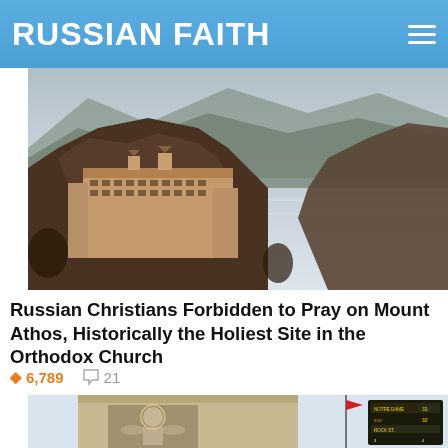RUSSIAN FAITH
[Figure (photo): Monastery building on rocky cliffside above calm water, with mountains in background. Historic Orthodox monastery on Mount Athos.]
Russian Christians Forbidden to Pray on Mount Athos, Historically the Holiest Site in the Orthodox Church
6,789  21
[Figure (photo): Partial view of a building with mosaic artwork and a scoreboard showing Notre Dame 33, Rock St 30, visible at bottom of page.]